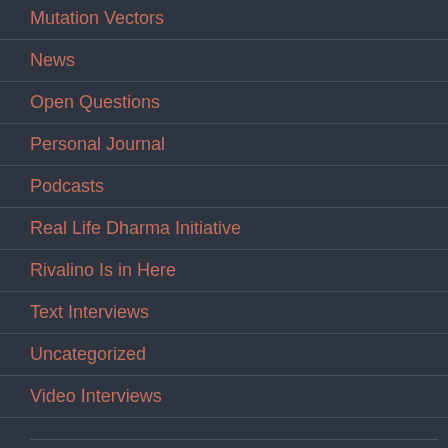Mutation Vectors
News
Open Questions
Personal Journal
Podcasts
Real Life Dharma Initiative
Rivalino Is in Here
Text Interviews
Uncategorized
Video Interviews